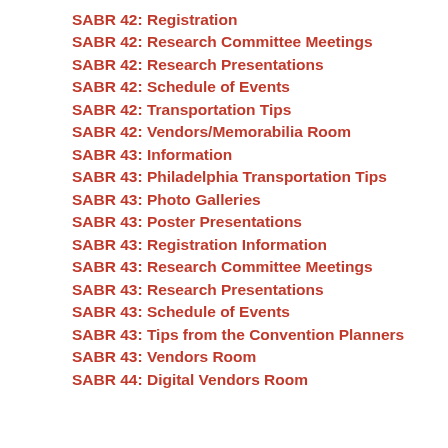SABR 42: Registration
SABR 42: Research Committee Meetings
SABR 42: Research Presentations
SABR 42: Schedule of Events
SABR 42: Transportation Tips
SABR 42: Vendors/Memorabilia Room
SABR 43: Information
SABR 43: Philadelphia Transportation Tips
SABR 43: Photo Galleries
SABR 43: Poster Presentations
SABR 43: Registration Information
SABR 43: Research Committee Meetings
SABR 43: Research Presentations
SABR 43: Schedule of Events
SABR 43: Tips from the Convention Planners
SABR 43: Vendors Room
SABR 44: Digital Vendors Room